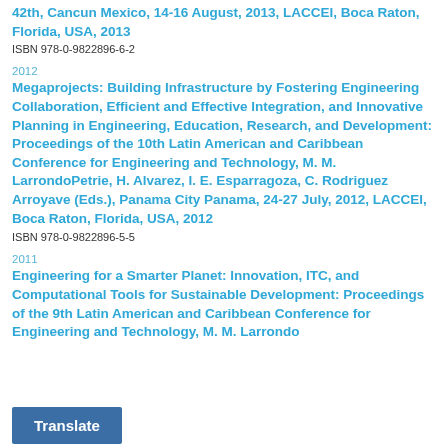42th, Cancun Mexico, 14-16 August, 2013, LACCEI, Boca Raton, Florida, USA, 2013
ISBN 978-0-9822896-6-2
2012
Megaprojects: Building Infrastructure by Fostering Engineering Collaboration, Efficient and Effective Integration, and Innovative Planning in Engineering, Education, Research, and Development: Proceedings of the 10th Latin American and Caribbean Conference for Engineering and Technology, M. M. LarrondoPetrie, H. Alvarez, I. E. Esparragoza, C. Rodriguez Arroyave (Eds.), Panama City Panama, 24-27 July, 2012, LACCEI, Boca Raton, Florida, USA, 2012
ISBN 978-0-9822896-5-5
2011
Engineering for a Smarter Planet: Innovation, ITC, and Computational Tools for Sustainable Development: Proceedings of the 9th Latin American and Caribbean Conference for Engineering and Technology, M. M. Larrondo